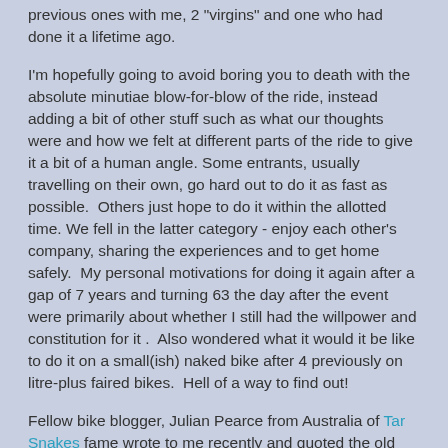previous ones with me, 2 "virgins" and one who had done it a lifetime ago.
I'm hopefully going to avoid boring you to death with the absolute minutiae blow-for-blow of the ride, instead adding a bit of other stuff such as what our thoughts were and how we felt at different parts of the ride to give it a bit of a human angle. Some entrants, usually travelling on their own, go hard out to do it as fast as possible.  Others just hope to do it within the allotted time. We fell in the latter category - enjoy each other's company, sharing the experiences and to get home safely.  My personal motivations for doing it again after a gap of 7 years and turning 63 the day after the event were primarily about whether I still had the willpower and constitution for it .  Also wondered what it would it be like to do it on a small(ish) naked bike after 4 previously on litre-plus faired bikes.  Hell of a way to find out!
Fellow bike blogger, Julian Pearce from Australia of Tar Snakes fame wrote to me recently and quoted the old military adage - the 7 P's.... Proper Prior Planning Prevents Piss Poor Performance.  How absolutely true and over